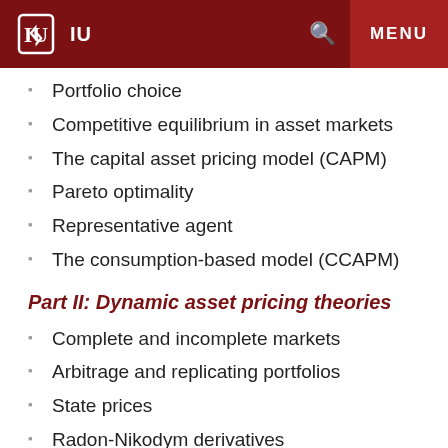IU MENU
Portfolio choice
Competitive equilibrium in asset markets
The capital asset pricing model (CAPM)
Pareto optimality
Representative agent
The consumption-based model (CCAPM)
Part II: Dynamic asset pricing theories
Complete and incomplete markets
Arbitrage and replicating portfolios
State prices
Radon-Nikodym derivatives
Martingale measures